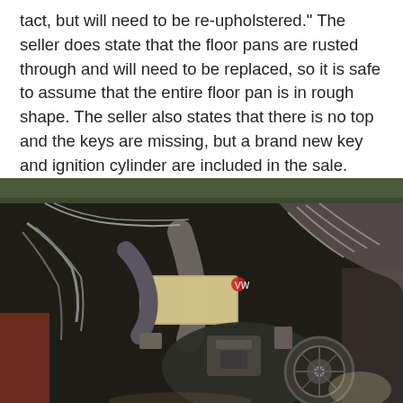tact, but will need to be re-upholstered." The seller does state that the floor pans are rusted through and will need to be replaced, so it is safe to assume that the entire floor pan is in rough shape. The seller also states that there is no top and the keys are missing, but a brand new key and ignition cylinder are included in the sale.
[Figure (photo): Photograph showing a vintage car engine compartment viewed from above, with various hoses, wiring, a carburetor, and mechanical components visible. A green metal panel is visible at the top. The engine is aged and appears to be from a classic VW or similar air-cooled vehicle.]